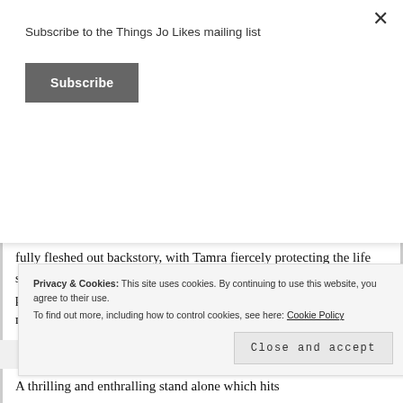Subscribe to the Things Jo Likes mailing list
Subscribe
×
lots in the future.
Which leads us to the characters. I loved them all. Everyone had a fully fleshed out backstory, with Tamra fiercely protecting the life she'd built and Raia's search for the family she never had. Even the politicians and augurs (priests) had such intricately woven machinations, I could not wait to see what
Privacy & Cookies: This site uses cookies. By continuing to use this website, you agree to their use.
To find out more, including how to control cookies, see here: Cookie Policy
Close and accept
A thrilling and enthralling stand alone which hits